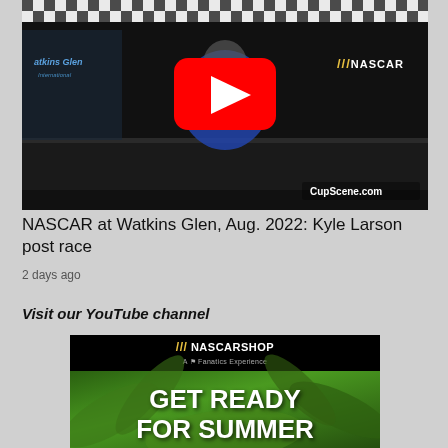[Figure (screenshot): YouTube video thumbnail showing a NASCAR driver in a blue racing suit at a press conference table with a Watkins Glen backdrop and NASCAR logo. A red YouTube play button is overlaid in the center. CupScene.com watermark visible in lower right.]
NASCAR at Watkins Glen, Aug. 2022: Kyle Larson post race
2 days ago
Visit our YouTube channel
[Figure (screenshot): NASCAR Shop advertisement banner showing 'GET READY FOR SUMMER' text over a tropical palm tree background. NASCAR Shop logo and 'A Fanatics Experience' tagline at the top on a black background.]